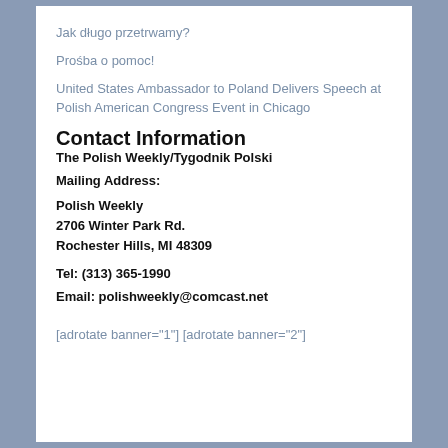Jak długo przetrwamy?
Prośba o pomoc!
United States Ambassador to Poland Delivers Speech at Polish American Congress Event in Chicago
Contact Information
The Polish Weekly/Tygodnik Polski
Mailing Address:
Polish Weekly
2706 Winter Park Rd.
Rochester Hills, MI 48309
Tel: (313) 365-1990
Email: polishweekly@comcast.net
[adrotate banner="1"] [adrotate banner="2"]